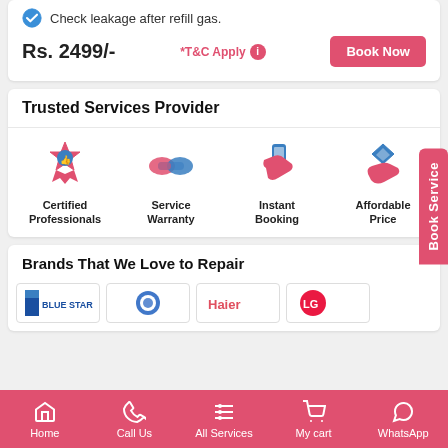Check leakage after refill gas.
Rs. 2499/-
*T&C Apply
Book Now
Trusted Services Provider
[Figure (infographic): Four icons: Certified Professionals (badge with thumbs up), Service Warranty (handshake), Instant Booking (hand holding phone), Affordable Price (hand holding diamond ring)]
Brands That We Love to Repair
[Figure (infographic): Brand logos row showing Blue Star, and partially visible others including Haier and LG]
Home | Call Us | All Services | My cart | WhatsApp